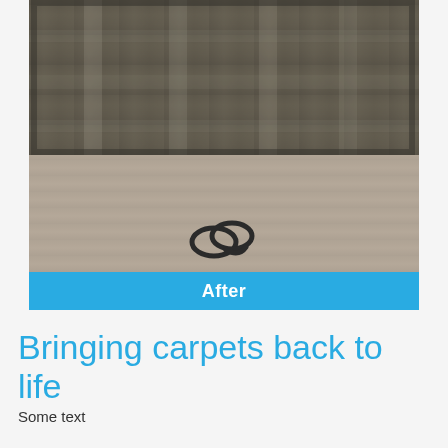[Figure (photo): After photo of carpet cleaning result showing a large dark grey/charcoal carpet in the upper portion and lighter beige/tan carpet below, with a black cable/cord coiled on the floor]
After
Bringing carpets back to life
Some text appears to begin at bottom (cut off)